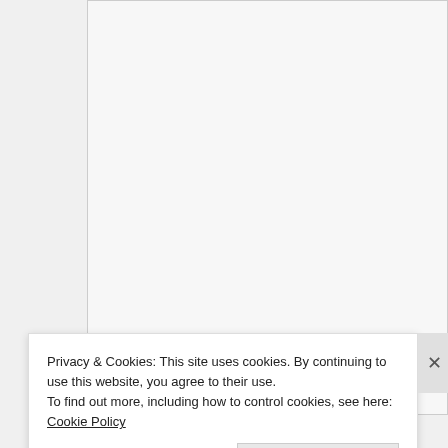[Figure (screenshot): A large textarea input box with light gray background and thin border, partially visible at the top of the page.]
Name *
[Figure (screenshot): A text input field for Name, with light gray background and thin border.]
Email *
[Figure (screenshot): A text input field for Email, with light gray background and thin border.]
Privacy & Cookies: This site uses cookies. By continuing to use this website, you agree to their use.
To find out more, including how to control cookies, see here: Cookie Policy
Close and accept